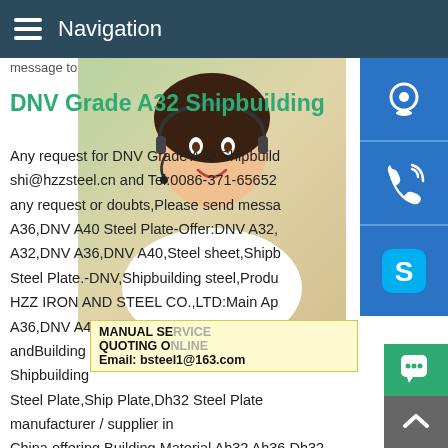Navigation
message to
DNV Grade A32 Shipbuilding
Any request for DNV Grade A32 Shipbuild shi@hzzsteel.cn and Tel:0086-371-65652 any request or doubts,Please send messa A36,DNV A40 Steel Plate-Offer:DNV A32, A32,DNV A36,DNV A40,Steel sheet,Shipb Steel Plate.-DNV,Shipbuilding steel,Produ HZZ IRON AND STEEL CO.,LTD:Main Ap A36,DNV A40 Steel Plate is widely used t andBuilding Material Ah32 Ah36 Dh32 Hot Rolled Shipbuilding Steel Plate,Ship Plate,Dh32 Steel Plate manufacturer / supplier in China,offering Building Material Ah32 Ah36 Dh32 Hot Rolled Shipbuilding Steel Plate,1100 3003 PVDF Prepainted Color C Steel Aluminum Coil,Alloy Color Coated Pre-Painted Gi Gl Aluminum Coil and
[Figure (photo): Customer service representative woman with headset, smiling]
[Figure (infographic): Blue customer service icon buttons: headset, phone, Skype. Yellow box with MANUAL SERVICE, QUOTING ON, Email: bsteel1@163.com. Green chat bubble button and gray scroll-to-top button.]